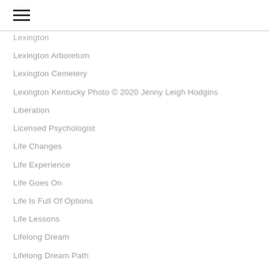☰
Lexington Arboretum
Lexington Cemetery
Lexington Kentucky Photo © 2020 Jenny Leigh Hodgins
Liberation
Licensed Psychologist
Life Changes
Life Experience
Life Goes On
Life Is Full Of Options
Life Lessons
Lifelong Dream
Lifelong Dream Path
Lifelong Dreams
Life Mentor
Life's Difficulties
Life's Immense Challenges
Life's Inherent Difficulties
Life's Interconnectedness